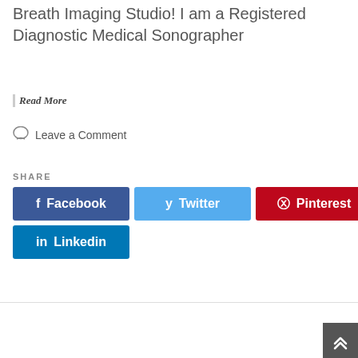Breath Imaging Studio! I am a Registered Diagnostic Medical Sonographer
Read More
Leave a Comment
SHARE
Facebook
Twitter
Pinterest
Linkedin